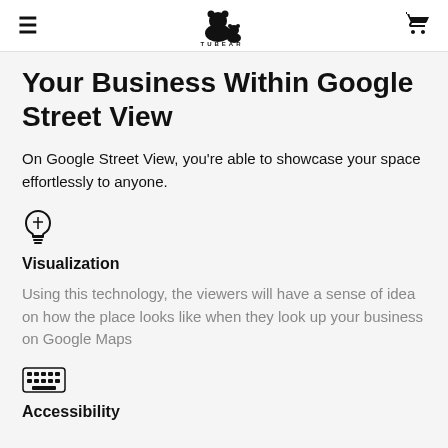[hamburger menu] TUBEAR logo [cart icon]
Your Business Within Google Street View
On Google Street View, you're able to showcase your space effortlessly to anyone.
[Figure (illustration): Light bulb icon]
Visualization
Using this technology, the viewers will have a sense of idea on how the place looks like when they look up your business on Google Maps
[Figure (illustration): Keyboard/accessibility icon]
Accessibility